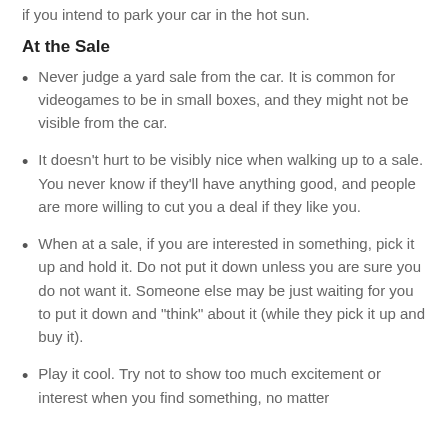if you intend to park your car in the hot sun.
At the Sale
Never judge a yard sale from the car. It is common for videogames to be in small boxes, and they might not be visible from the car.
It doesn't hurt to be visibly nice when walking up to a sale. You never know if they'll have anything good, and people are more willing to cut you a deal if they like you.
When at a sale, if you are interested in something, pick it up and hold it. Do not put it down unless you are sure you do not want it. Someone else may be just waiting for you to put it down and "think" about it (while they pick it up and buy it).
Play it cool. Try not to show too much excitement or interest when you find something, no matter